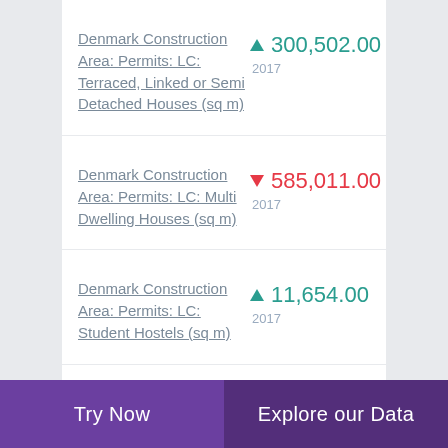Denmark Construction Area: Permits: LC: Terraced, Linked or Semi Detached Houses (sq m)
▲ 300,502.00
2017
Denmark Construction Area: Permits: LC: Multi Dwelling Houses (sq m)
▼ 585,011.00
2017
Denmark Construction Area: Permits: LC: Student Hostels (sq m)
▲ 11,654.00
2017
Denmark Construction Area: Permits: LC:
▲ 5,482.00
Try Now   Explore our Data